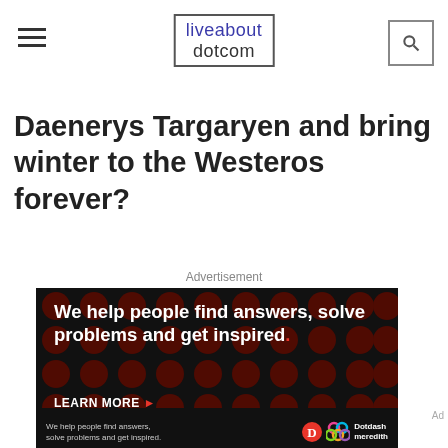liveabout dotcom
Daenerys Targaryen and bring winter to the Westeros forever?
Advertisement
[Figure (photo): Dotdash Meredith advertisement: black background with dark red dot pattern. Large white bold text reads 'We help people find answers, solve problems and get inspired.' with a red period. 'LEARN MORE' in bold white with red arrow. Bottom: red circle D logo and colorful interlocking rings logo.]
[Figure (photo): Bottom bar showing smaller version of Dotdash Meredith ad with D logo, colorful rings logo, and 'Dotdash meredith' text.]